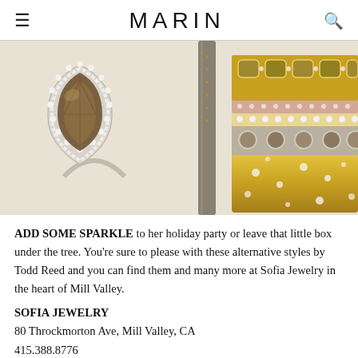MARIN
[Figure (photo): Close-up photograph of stacked gold and diamond rings by Todd Reed, including a teardrop-shaped ring with a large brown stone surrounded by small diamonds, alongside multiple stacked bands with diamonds and gemstones in gold and silver settings.]
ADD SOME SPARKLE to her holiday party or leave that little box under the tree. You’re sure to please with these alternative styles by Todd Reed and you can find them and many more at Sofia Jewelry in the heart of Mill Valley.
SOFIA JEWELRY
80 Throckmorton Ave, Mill Valley, CA
415.388.8776